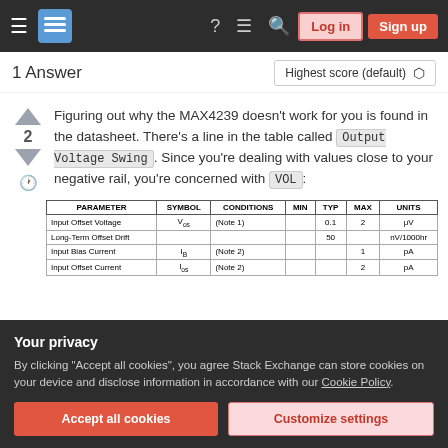Stack Exchange navigation bar with Log in and Sign up buttons
1 Answer
Figuring out why the MAX4239 doesn't work for you is found in the datasheet. There's a line in the table called Output Voltage Swing. Since you're dealing with values close to your negative rail, you're concerned with VOL:
| PARAMETER | SYMBOL | CONDITIONS | MIN | TYP | MAX | UNITS |
| --- | --- | --- | --- | --- | --- | --- |
| Input Offset Voltage | Vos | (Note 1) |  | 0.1 | 2 | μV |
| Long-Term Offset Drift |  |  |  | 50 |  | nV/1000hr |
| Input Bias Current | IB | (Note 2) |  |  | 1 | pA |
| Input Offset Current | Ios | (Note 2) |  |  | 2 | pA |
Your privacy
By clicking "Accept all cookies", you agree Stack Exchange can store cookies on your device and disclose information in accordance with our Cookie Policy.
Accept all cookies
Customize settings